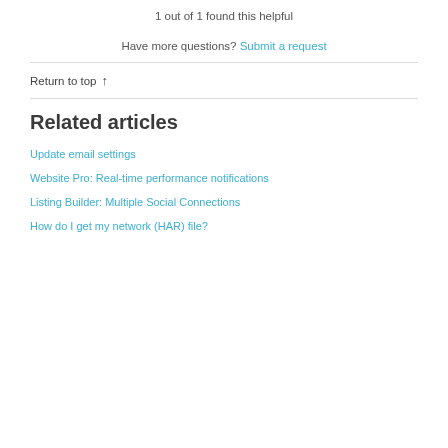1 out of 1 found this helpful
Have more questions? Submit a request
Return to top ↑
Related articles
Update email settings
Website Pro: Real-time performance notifications
Listing Builder: Multiple Social Connections
How do I get my network (HAR) file?